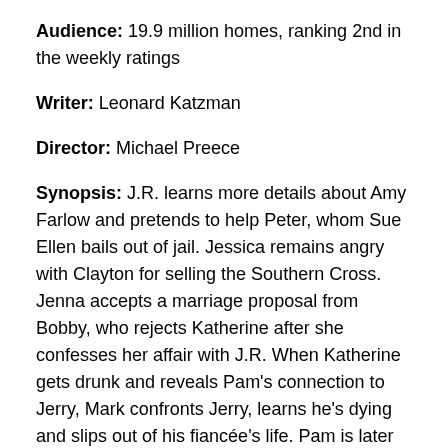Audience: 19.9 million homes, ranking 2nd in the weekly ratings
Writer: Leonard Katzman
Director: Michael Preece
Synopsis: J.R. learns more details about Amy Farlow and pretends to help Peter, whom Sue Ellen bails out of jail. Jessica remains angry with Clayton for selling the Southern Cross. Jenna accepts a marriage proposal from Bobby, who rejects Katherine after she confesses her affair with J.R. When Katherine gets drunk and reveals Pam's connection to Jerry, Mark confronts Jerry, learns he's dying and slips out of his fiancée's life. Pam is later shocked to learn Mark has died in a plane crash.